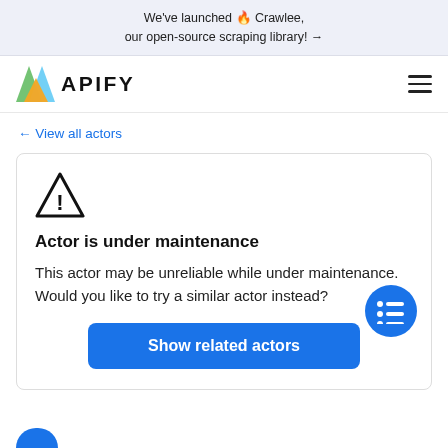We've launched 🔥 Crawlee, our open-source scraping library! →
[Figure (logo): Apify logo with geometric mark and APIFY wordmark]
← View all actors
Actor is under maintenance
This actor may be unreliable while under maintenance. Would you like to try a similar actor instead?
Show related actors